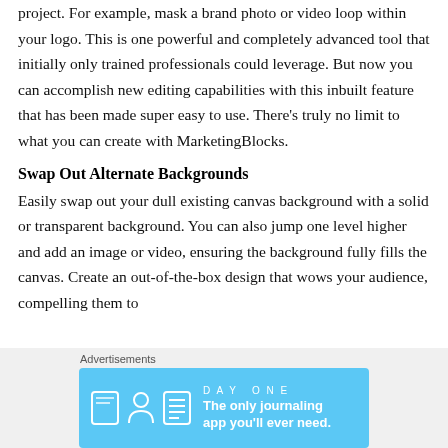project. For example, mask a brand photo or video loop within your logo. This is one powerful and completely advanced tool that initially only trained professionals could leverage. But now you can accomplish new editing capabilities with this inbuilt feature that has been made super easy to use. There's truly no limit to what you can create with MarketingBlocks.
Swap Out Alternate Backgrounds
Easily swap out your dull existing canvas background with a solid or transparent background. You can also jump one level higher and add an image or video, ensuring the background fully fills the canvas. Create an out-of-the-box design that wows your audience, compelling them to
Advertisements
[Figure (screenshot): DAY ONE journaling app advertisement banner: blue background with app icons and text 'The only journaling app you'll ever need.']